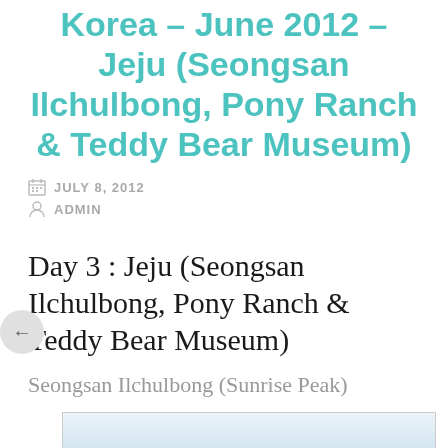Korea – June 2012 – Jeju (Seongsan Ilchulbong, Pony Ranch & Teddy Bear Museum)
JULY 8, 2012
ADMIN
Day 3 : Jeju (Seongsan Ilchulbong, Pony Ranch & Teddy Bear Museum)
Seongsan Ilchulbong (Sunrise Peak)
[Figure (photo): Outdoor sky photograph, mostly overcast sky with light blue-grey tones]